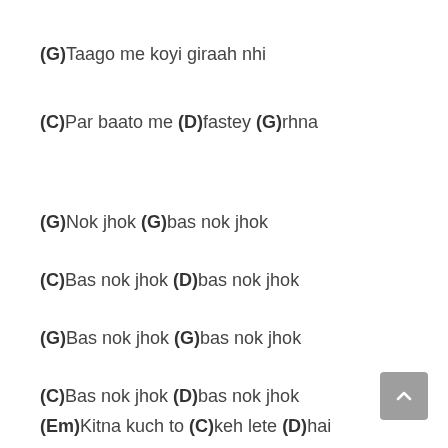(G)Taago me koyi giraah nhi
(C)Par baato me (D)fastey (G)rhna
(G)Nok jhok (G)bas nok jhok
(C)Bas nok jhok (D)bas nok jhok
(G)Bas nok jhok (G)bas nok jhok
(C)Bas nok jhok (D)bas nok jhok
(Em)Kitna kuch to (C)keh lete (D)hai